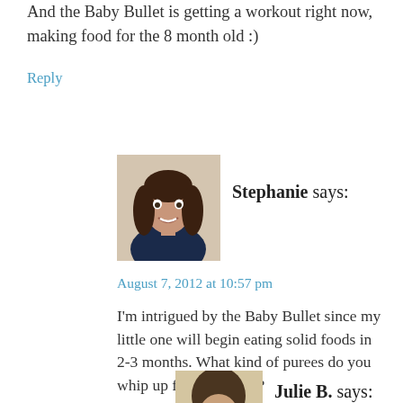And the Baby Bullet is getting a workout right now, making food for the 8 month old :)
Reply
[Figure (photo): Profile photo of Stephanie, a young woman with dark curly hair, smiling]
Stephanie says:
August 7, 2012 at 10:57 pm
I'm intrigued by the Baby Bullet since my little one will begin eating solid foods in 2-3 months. What kind of purees do you whip up for your baby?
Reply
[Figure (photo): Profile photo of Julie B., partially visible at bottom of page]
Julie B. says: